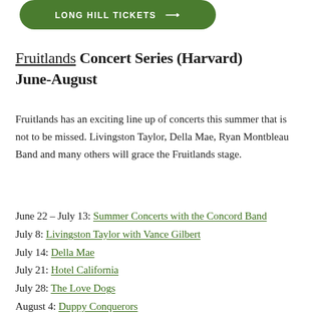[Figure (other): Green rounded button with white uppercase text 'LONG HILL TICKETS' and arrow]
Fruitlands Concert Series (Harvard) June-August
Fruitlands has an exciting line up of concerts this summer that is not to be missed. Livingston Taylor, Della Mae, Ryan Montbleau Band and many others will grace the Fruitlands stage.
June 22 – July 13: Summer Concerts with the Concord Band
July 8: Livingston Taylor with Vance Gilbert
July 14: Della Mae
July 21: Hotel California
July 28: The Love Dogs
August 4: Duppy Conquerors
August 19: Ryan Montbleau Band